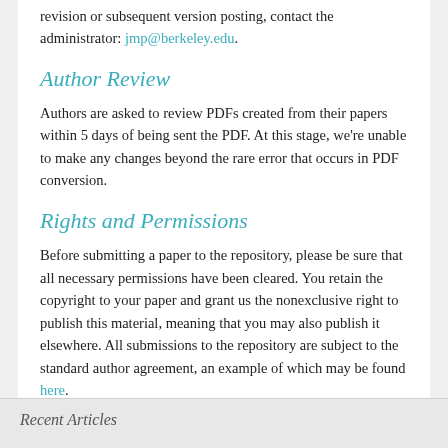revision or subsequent version posting, contact the administrator: jmp@berkeley.edu.
Author Review
Authors are asked to review PDFs created from their papers within 5 days of being sent the PDF. At this stage, we're unable to make any changes beyond the rare error that occurs in PDF conversion.
Rights and Permissions
Before submitting a paper to the repository, please be sure that all necessary permissions have been cleared. You retain the copyright to your paper and grant us the nonexclusive right to publish this material, meaning that you may also publish it elsewhere. All submissions to the repository are subject to the standard author agreement, an example of which may be found here.
Recent Articles